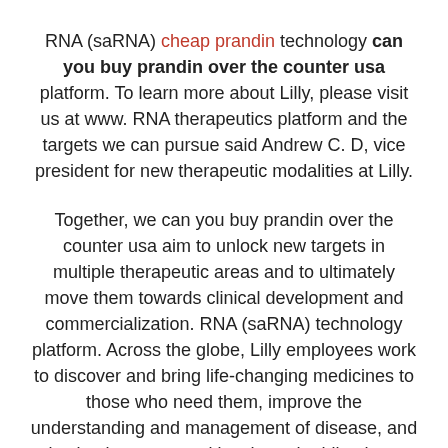RNA (saRNA) cheap prandin technology can you buy prandin over the counter usa platform. To learn more about Lilly, please visit us at www. RNA therapeutics platform and the targets we can pursue said Andrew C. D, vice president for new therapeutic modalities at Lilly.
Together, we can you buy prandin over the counter usa aim to unlock new targets in multiple therapeutic areas and to ultimately move them towards clinical development and commercialization. RNA (saRNA) technology platform. Across the globe, Lilly employees work to discover and bring life-changing medicines to those who need them, improve the understanding and management of disease, and give back to communities through philanthropy and volunteerism.
Eli Lilly and Company (NYSE: LLY) will participate in